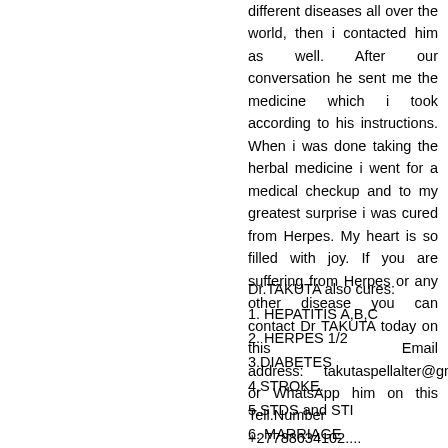different diseases all over the world, then i contacted him as well. After our conversation he sent me the medicine which i took according to his instructions. When i was done taking the herbal medicine i went for a medical checkup and to my greatest surprise i was cured from Herpes. My heart is so filled with joy. If you are suffering from Herpes or any other disease you can contact Dr TAKUTA today on this Email address:    takutaspellalter@gmail.com or WhatsApp him on this Tell.Number +27788634102....
Dr.TAKUTA also cures:
1. HEPATITIS A,B,C
2. HERPES 1/2
3.DIABETES
4.STROKE.
5.STDS and STI
6. MARRIAGE COUNSELLING
7.LOVE SPELL CASTING
8.JOB PROMOTION SPELLS
9.MARITAL PROBLEM